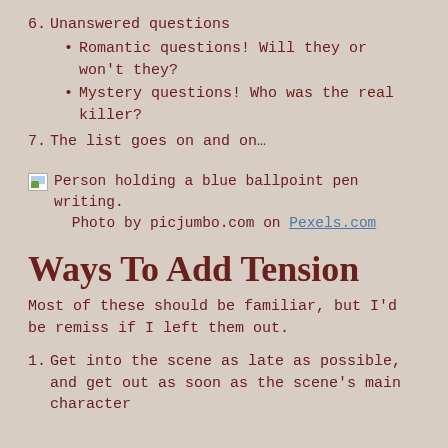6. Unanswered questions
Romantic questions! Will they or won't they?
Mystery questions! Who was the real killer?
7. The list goes on and on…
[Figure (photo): Person holding a blue ballpoint pen writing.]
Photo by picjumbo.com on Pexels.com
Ways To Add Tension
Most of these should be familiar, but I'd be remiss if I left them out.
1. Get into the scene as late as possible, and get out as soon as the scene's main character